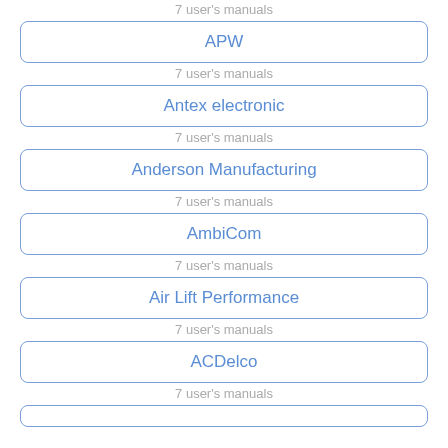7 user's manuals
APW
7 user's manuals
Antex electronic
7 user's manuals
Anderson Manufacturing
7 user's manuals
AmbiCom
7 user's manuals
Air Lift Performance
7 user's manuals
ACDelco
7 user's manuals